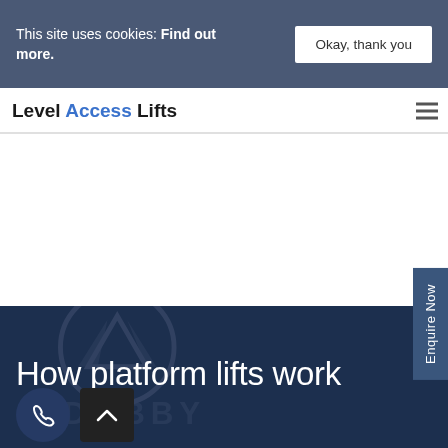This site uses cookies: Find out more.
Okay, thank you
Level Access Lifts
[Figure (screenshot): Hero section with dark blue background and watermark logo showing AIA / DOBBY text, with title 'How platform lifts work']
How platform lifts work
Enquire Now